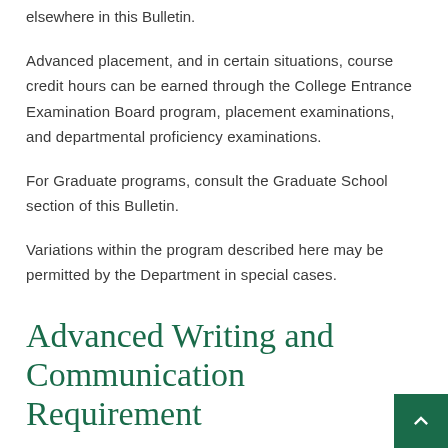elsewhere in this Bulletin.
Advanced placement, and in certain situations, course credit hours can be earned through the College Entrance Examination Board program, placement examinations, and departmental proficiency examinations.
For Graduate programs, consult the Graduate School section of this Bulletin.
Variations within the program described here may be permitted by the Department in special cases.
Advanced Writing and Communication Requirement
Degree candidates in the College of Arts and Sciences